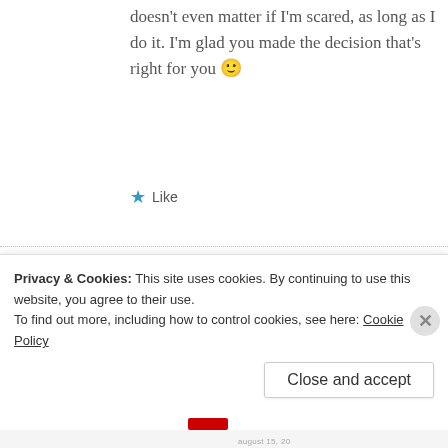doesn't even matter if I'm scared, as long as I do it. I'm glad you made the decision that's right for you 🙂
★ Like
theseordinarygraces says:
Reply
Privacy & Cookies: This site uses cookies. By continuing to use this website, you agree to their use.
To find out more, including how to control cookies, see here: Cookie Policy
Close and accept